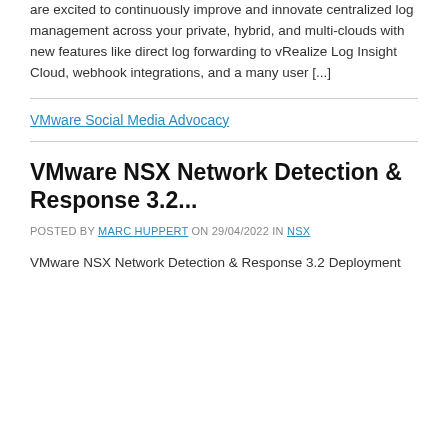are excited to continuously improve and innovate centralized log management across your private, hybrid, and multi-clouds with new features like direct log forwarding to vRealize Log Insight Cloud, webhook integrations, and a many user [...]
VMware Social Media Advocacy
VMware NSX Network Detection & Response 3.2...
POSTED BY MARC HUPPERT ON 29/04/2022 IN NSX
VMware NSX Network Detection & Response 3.2 Deployment